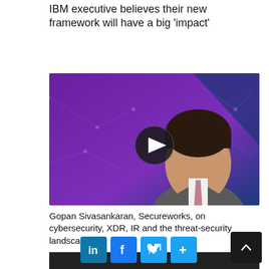IBM executive believes their new framework will have a big 'impact'
[Figure (screenshot): Video thumbnail for DIGITALKS by tahawultech.com featuring Gopan Sivasankaran, General Manager, META, Secureworks. Purple gradient background with network pattern, showing a man in suit and tie, with a YouTube play button overlay.]
Gopan Sivasankaran, Secureworks, on cybersecurity, XDR, IR and the threat-security landscape